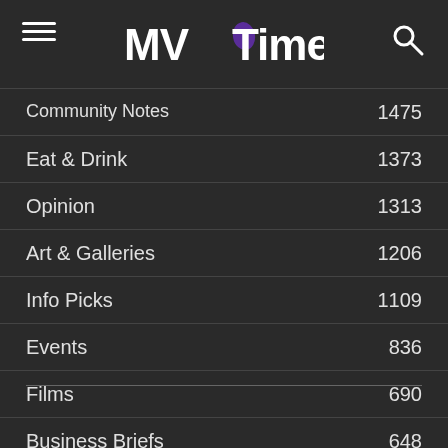MV Times
Community Notes 1475
Eat & Drink 1373
Opinion 1313
Art & Galleries 1206
Info Picks 1109
Events 836
Films 690
Business Briefs 648
Chilmark 645
Editorial 644